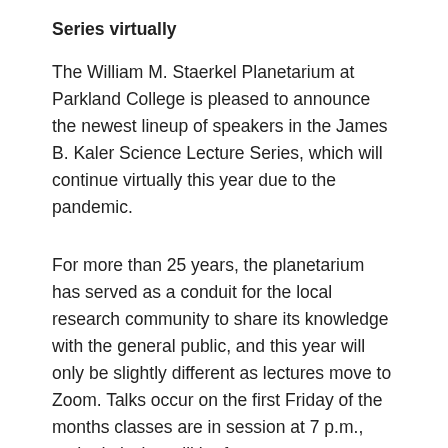Series virtually
The William M. Staerkel Planetarium at Parkland College is pleased to announce the newest lineup of speakers in the James B. Kaler Science Lecture Series, which will continue virtually this year due to the pandemic.
For more than 25 years, the planetarium has served as a conduit for the local research community to share its knowledge with the general public, and this year will only be slightly different as lectures move to Zoom. Talks occur on the first Friday of the months classes are in session at 7 p.m., and admission will be free.